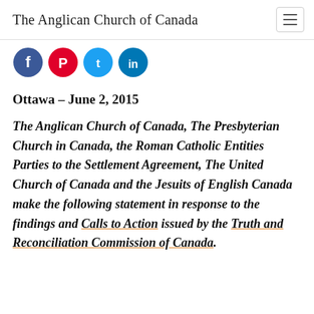The Anglican Church of Canada
[Figure (illustration): Four social media share buttons: Facebook (blue), Pinterest (red), Twitter (blue), LinkedIn (blue)]
Ottawa – June 2, 2015
The Anglican Church of Canada, The Presbyterian Church in Canada, the Roman Catholic Entities Parties to the Settlement Agreement, The United Church of Canada and the Jesuits of English Canada make the following statement in response to the findings and Calls to Action issued by the Truth and Reconciliation Commission of Canada.